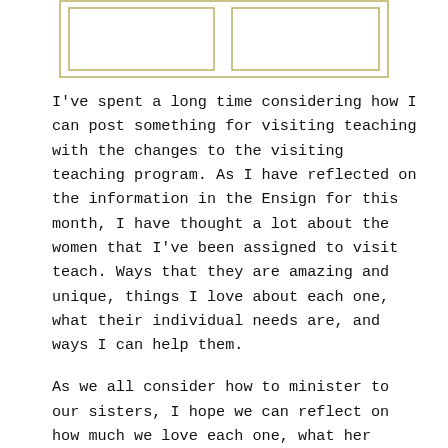[Figure (other): Two empty rectangular boxes side by side with a thin olive/gold border, arranged horizontally within a larger bounding rectangle with the same border style.]
I've spent a long time considering how I can post something for visiting teaching with the changes to the visiting teaching program. As I have reflected on the information in the Ensign for this month, I have thought a lot about the women that I've been assigned to visit teach. Ways that they are amazing and unique, things I love about each one, what their individual needs are, and ways I can help them.
As we all consider how to minister to our sisters, I hope we can reflect on how much we love each one, what her particular needs are,